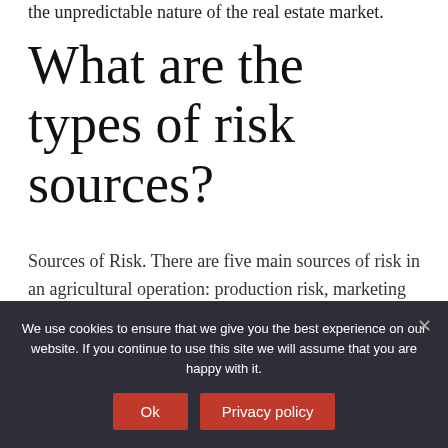the unpredictable nature of the real estate market.
What are the types of risk sources?
Sources of Risk. There are five main sources of risk in an agricultural operation: production risk, marketing risk, financial risk, legal risk, and human resource risks. Although strategic planning is not listed as a resource category, it is critical to the overall success of any operation.
We use cookies to ensure that we give you the best experience on our website. If you continue to use this site we will assume that you are happy with it.
Ok
Privacy policy